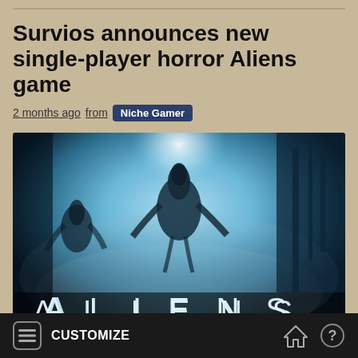Survios announces new single-player horror Aliens game
2 months ago from  Niche Gamer
[Figure (photo): Promotional image for Aliens game showing shadowy alien creature in misty blue light with the word ALIENS displayed at the bottom in large spaced letters]
CUSTOMIZE